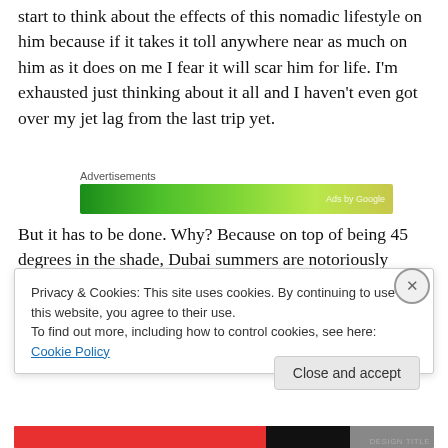start to think about the effects of this nomadic lifestyle on him because if it takes it toll anywhere near as much on him as it does on me I fear it will scar him for life. I'm exhausted just thinking about it all and I haven't even got over my jet lag from the last trip yet.
[Figure (other): Advertisement banner — green gradient bar labeled 'Advertisements']
But it has to be done. Why? Because on top of being 45 degrees in the shade, Dubai summers are notoriously lonely. Everyone who can, leaves. For as long as they can
Privacy & Cookies: This site uses cookies. By continuing to use this website, you agree to their use.
To find out more, including how to control cookies, see here: Cookie Policy